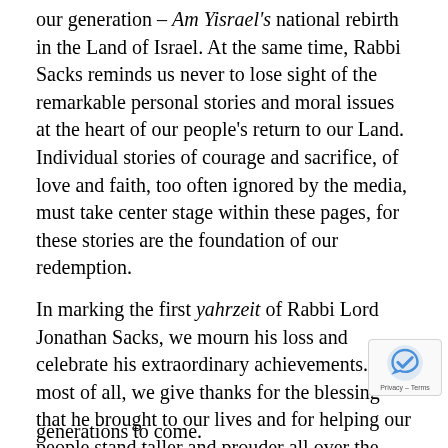our generation – Am Yisrael's national rebirth in the Land of Israel. At the same time, Rabbi Sacks reminds us never to lose sight of the remarkable personal stories and moral issues at the heart of our people's return to our Land. Individual stories of courage and sacrifice, of love and faith, too often ignored by the media, must take center stage within these pages, for these stories are the foundation of our redemption.
In marking the first yahrzeit of Rabbi Lord Jonathan Sacks, we mourn his loss and celebrate his extraordinary achievements. But most of all, we give thanks for the blessing that he brought to our lives and for helping our people stand taller and prouder all over the world. May his teachings continue to inspire our nation for generations to come.